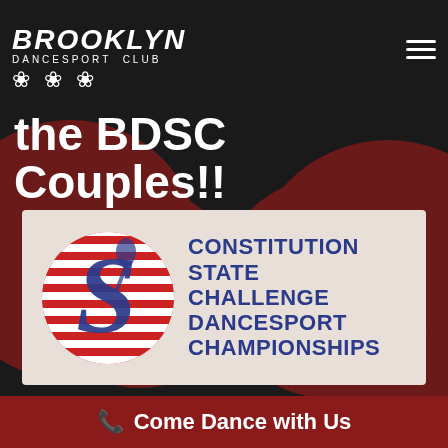BROOKLYN DANCESPORT CLUB
the BDSC Couples!!
[Figure (logo): Constitution State Challenge Dancesport Championships logo with stylized 'S' emblem on red/white striped circular background and blue text]
RESULTS:
Come Dance with Us